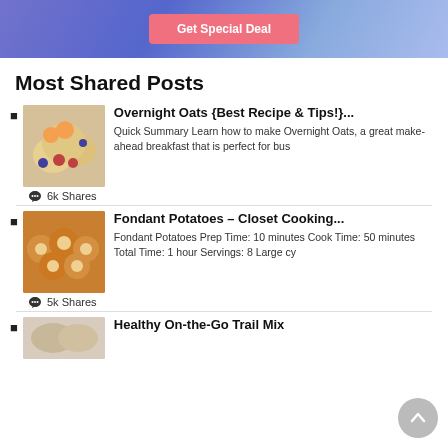[Figure (photo): Blue/purple gradient banner with a pink 'Get Special Deal' button]
Most Shared Posts
Overnight Oats {Best Recipe & Tips!}... Quick Summary Learn how to make Overnight Oats, a great make-ahead breakfast that is perfect for bus — 6k Shares
Fondant Potatoes – Closet Cooking... Fondant Potatoes Prep Time: 10 minutes Cook Time: 50 minutes Total Time: 1 hour Servings: 8 Large cy — 5k Shares
Healthy On-the-Go Trail Mix